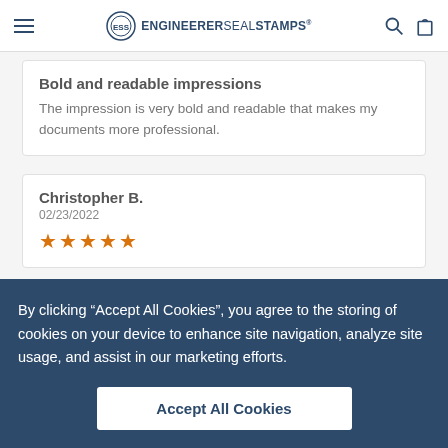ENGINEERER SEAL STAMPS
Bold and readable impressions
The impression is very bold and readable that makes my documents more professional.
Christopher B.
02/23/2022
★★★★★
By clicking “Accept All Cookies”, you agree to the storing of cookies on your device to enhance site navigation, analyze site usage, and assist in our marketing efforts.
Accept All Cookies
Dorothy M.
02/27/2022